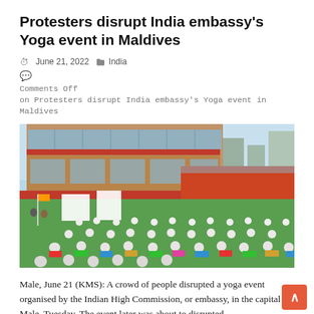Protesters disrupt India embassy's Yoga event in Maldives
June 21, 2022   India
Comments Off
on Protesters disrupt India embassy's Yoga event in Maldives
[Figure (photo): Large outdoor yoga event with many participants in white clothing seated on colorful mats on a green lawn, in front of a modern multi-story building with red and brown facade and glass windows, blue sky in background.]
Male, June 21 (KMS): A crowd of people disrupted a yoga event organised by the Indian High Commission, or embassy, in the capital Male, Tuesday. The event later was about to disrupted